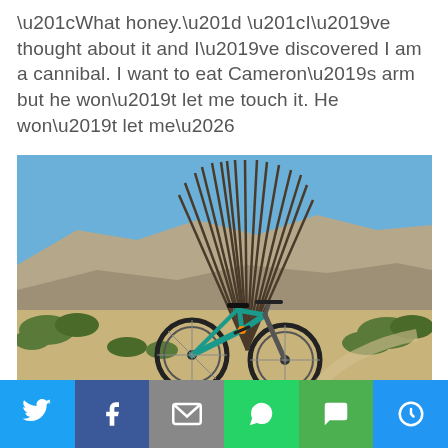“What honey.” “I’ve thought about it and I’ve discovered I am a cannibal. I want to eat Cameron’s arm but he won’t let me touch it. He won’t let me…
[Figure (photo): A mountain bike leaning against a tall desert ocotillo plant on a sandy trail, with desert scrub and rocky hills in the background under a clear blue sky.]
Twitter | Facebook | Email | WhatsApp | SMS | More